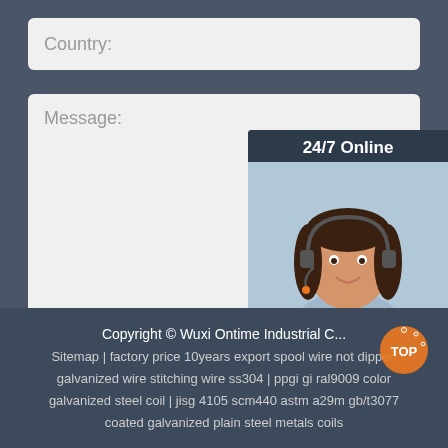Country:
Message:
Submit Now
[Figure (photo): 24/7 Online chat box with a female customer service representative wearing a headset, smiling. Header text: 24/7 Online. Footer text: Click here for free chat !. Button: QUOTATION]
Copyright © Wuxi Ontime Industrial C... | Sitemap | factory price 10years export spool wire not dipped galvanized wire stitching wire ss304 | ppgi gi ral9009 color galvanized steel coil | jisg 4105 scm440 astm a29m gb/t3077 coated galvanized plain steel metals coils